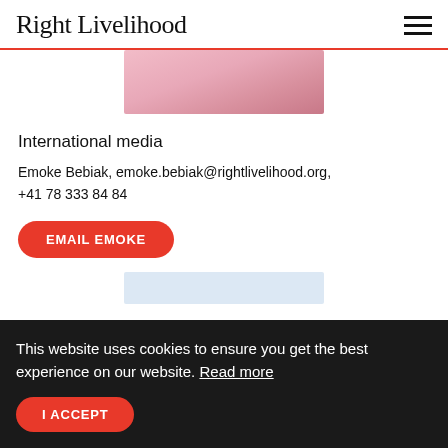Right Livelihood
[Figure (photo): Partial photo of a person in pink/rose clothing, cropped at top]
International media
Emoke Bebiak, emoke.bebiak@rightlivelihood.org, +41 78 333 84 84
EMAIL EMOKE
[Figure (photo): Partial photo visible at bottom, light blue tones]
This website uses cookies to ensure you get the best experience on our website. Read more
I ACCEPT